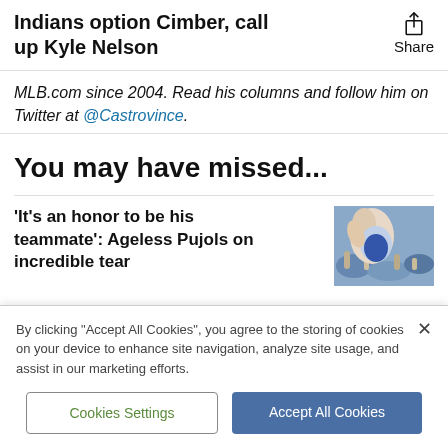Indians option Cimber, call up Kyle Nelson
MLB.com since 2004. Read his columns and follow him on Twitter at @Castrovince.
You may have missed...
'It's an honor to be his teammate': Ageless Pujols on incredible tear
[Figure (photo): Sports photo showing a baseball player with crowd in background]
By clicking "Accept All Cookies", you agree to the storing of cookies on your device to enhance site navigation, analyze site usage, and assist in our marketing efforts.